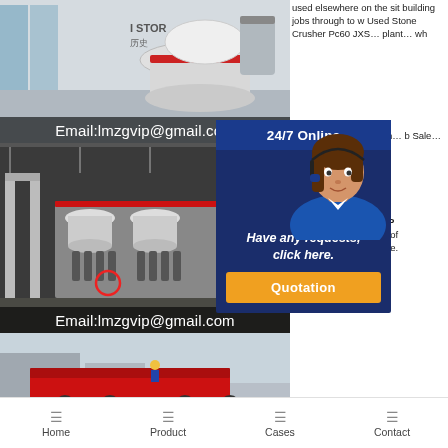[Figure (photo): Industrial cone crusher machine in a factory showroom, with 'STOR 历史' text visible. Email overlay: Email:lmzgvip@gmail.com]
[Figure (photo): Large industrial crushing/screening plant machinery in a factory hall, multiple cone crushers visible. Email overlay: Email:lmzgvip@gmail.com]
[Figure (photo): Red mobile rock crushing plant with worker in yellow helmet visible, partial view]
used elsewhere on the site building jobs through to w Used Stone Crusher Pc60 JXS… plant… wh
Por… e Used… Po with… b Sale… g base… or crus… &
[Figure (infographic): 24/7 Online chat popup with customer service agent photo, 'Have any requests, click here.' text and orange Quotation button]
Used Rock Crushing P Depending on the type of Price And More For Sale.
Home   Product   Cases   Contact